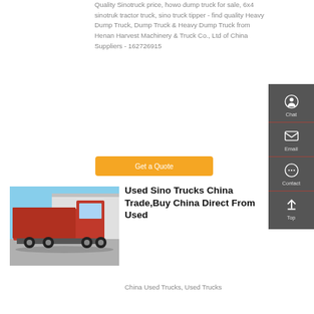Quality Sinotruck price, howo dump truck for sale, 6x4 sinotruk tractor truck, sino truck tipper - find quality Heavy Dump Truck, Dump Truck & Heavy Dump Truck from Henan Harvest Machinery & Truck Co., Ltd of China Suppliers - 162726915
Get a Quote
[Figure (photo): Red Sino dump truck parked in an outdoor yard with blue sky and warehouse in background]
Used Sino Trucks China Trade,Buy China Direct From Used
China Used Trucks, Used Trucks